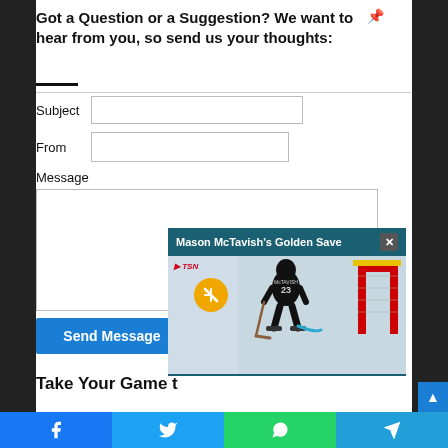Got a Question or a Suggestion? We want to hear from you, so send us your thoughts:
Subject
From
Message
Send Message
[Figure (screenshot): Video overlay showing 'Mason McTavish's Golden Save' with a hockey player near a goal, TSN branding, mute button, and close X button]
Take Your Game t...
[Figure (infographic): Social sharing bar with Facebook, Twitter, WhatsApp, and Telegram icons]